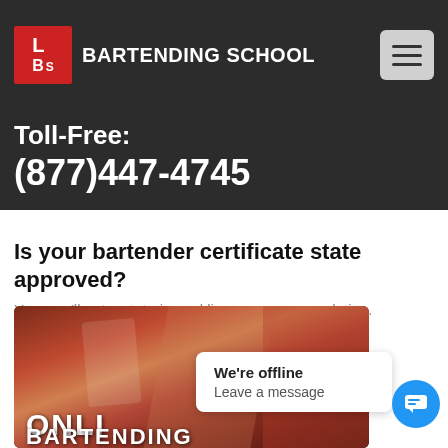LBS BARTENDING SCHOOL
Toll-Free: (877)447-4745
Is your bartender certificate state approved?
Yes, you'll get a state-issued license upon completion.
Do you offer TIPS Training?
Yes, we offer complete TIPS training and certification.
[Figure (photo): Bartending image with text ONLINE BARTENDING visible]
We're offline
Leave a message